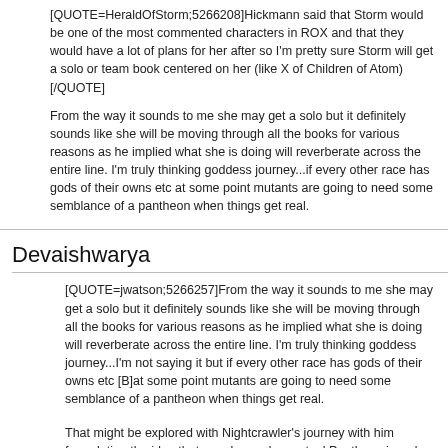[QUOTE=HeraldOfStorm;5266208]Hickmann said that Storm would be one of the most commented characters in ROX and that they would have a lot of plans for her after so I'm pretty sure Storm will get a solo or team book centered on her (like X of Children of Atom)[/QUOTE]
From the way it sounds to me she may get a solo but it definitely sounds like she will be moving through all the books for various reasons as he implied what she is doing will reverberate across the entire line. I'm truly thinking goddess journey...if every other race has gods of their owns etc at some point mutants are going to need some semblance of a pantheon when things get real.
Devaishwarya
[QUOTE=jwatson;5266257]From the way it sounds to me she may get a solo but it definitely sounds like she will be moving through all the books for various reasons as he implied what she is doing will reverberate across the entire line. I'm truly thinking goddess journey...I'm not saying it but if every other race has gods of their owns etc [B]at some point mutants are going to need some semblance of a pantheon when things get real.
That might be explored with Nightcrawler's journey with him formulating the idea that people need an actual Pantheon in order to have religion, pray etc. Personally, I don't want Storm fulfilling Magneto's rather bold and egotistical "we are gods now" statement...by becoming just that...a God of Mutants.